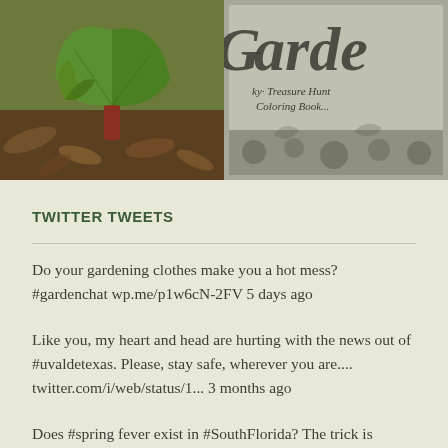[Figure (photo): Two photos side by side: left shows a green plant sprouting from soil with dead leaves, right shows a book cover with cursive text reading 'Garden' and 'Treasure Hunt Coloring Book']
TWITTER TWEETS
Do your gardening clothes make you a hot mess? #gardenchat wp.me/p1w6cN-2FV 5 days ago
Like you, my heart and head are hurting with the news out of #uvaldetexas. Please, stay safe, wherever you are.... twitter.com/i/web/status/1... 3 months ago
Does #spring fever exist in #SouthFlorida? The trick is keeping a low-tech deadline about a 1 of Now